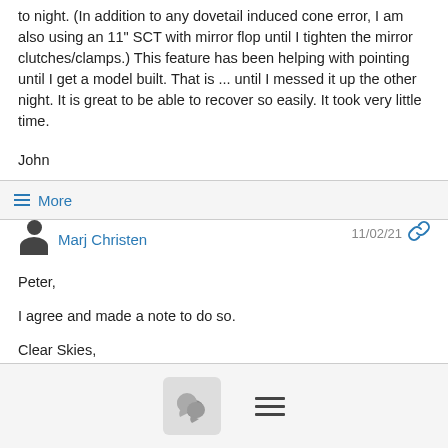to night. (In addition to any dovetail induced cone error, I am also using an 11" SCT with mirror flop until I tighten the mirror clutches/clamps.) This feature has been helping with pointing until I get a model built. That is ... until I messed it up the other night. It is great to be able to recover so easily. It took very little time.
John
≡ More
Marj Christen  11/02/21
Peter,
I agree and made a note to do so.
Clear Skies,
Marj Christen
[Figure (other): Bottom navigation bar with chat bubble icon button and hamburger menu icon]